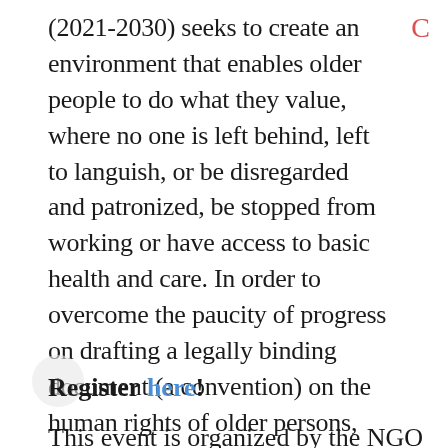(2021-2030) seeks to create an environment that enables older people to do what they value, where no one is left behind, left to languish, or be disregarded and patronized, be stopped from working or have access to basic health and care. In order to overcome the paucity of progress on drafting a legally binding document (a convention) on the human rights of older persons, the United States and Canada need to STAND UP as global leaders in the effort to Call for Action at the United Nations.
Register here!
This event is organized by the NGO